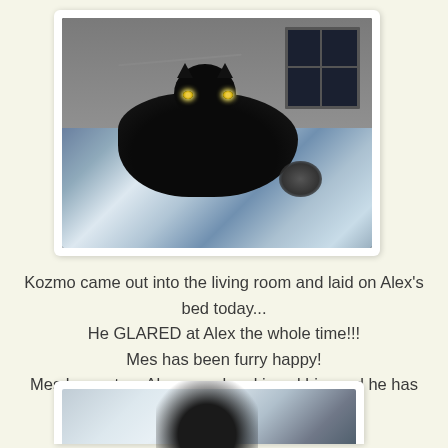[Figure (photo): A black cat with glowing yellow-green eyes lying on a blue and white patterned bed/comforter, looking directly at the camera. Background shows a grey wall and dark window.]
Kozmo came out into the living room and laid on Alex's bed today...
He GLARED at Alex the whole time!!!
Mes has been furry happy!
Mes has sat on Alex. mes has kissed him and he has kissed me!
Mes LOVES him so very much!!!
[Figure (photo): Partial view of a second photo showing what appears to be a white surface, possibly a bed with a cat, cropped at the bottom of the page.]